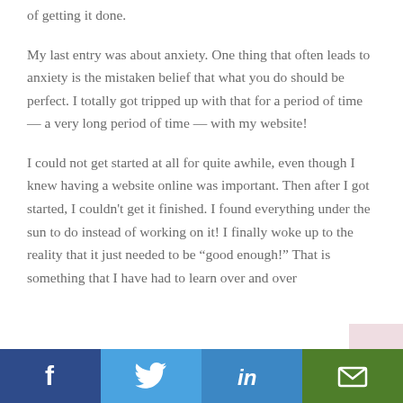of getting it done.
My last entry was about anxiety. One thing that often leads to anxiety is the mistaken belief that what you do should be perfect. I totally got tripped up with that for a period of time — a very long period of time — with my website!
I could not get started at all for quite awhile, even though I knew having a website online was important. Then after I got started, I couldn't get it finished. I found everything under the sun to do instead of working on it! I finally woke up to the reality that it just needed to be “good enough!” That is something that I have had to learn over and over
[Figure (infographic): Social sharing bar with four buttons: Facebook (dark blue, f icon), Twitter (light blue, bird icon), LinkedIn (medium blue, in icon), Email (green, envelope icon)]